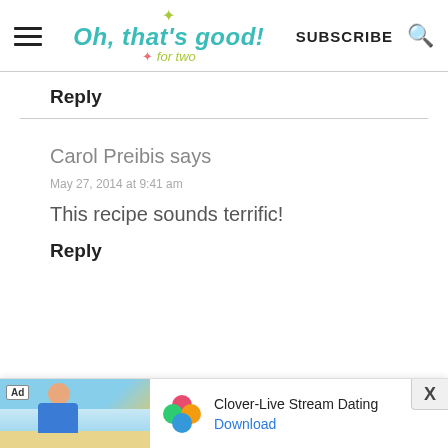Oh, that's good! for two — SUBSCRIBE
Reply
Carol Preibis says
May 27, 2014 at 9:41 am
This recipe sounds terrific!
Reply
[Figure (screenshot): Mobile advertisement banner for Clover-Live Stream Dating app with beach photo, Clover flower logo, and Download link]